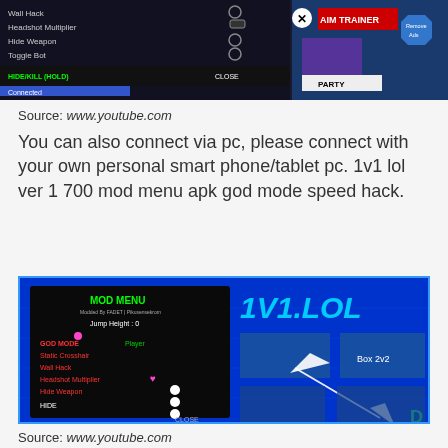[Figure (screenshot): Screenshot of a game mod menu showing Wall Hack, Headshot Multiplier, Hide Weapon, Toggle Bot options with HIDE/KILL (HOLD) and CLOSE buttons, and an AIM TRAINER overlay and PARTY button visible. Shows 'Connected' status.]
Source: www.youtube.com
You can also connect via pc, please connect with your own personal smart phone/tablet pc. 1v1 lol ver 1 700 mod menu apk god mode speed hack.
[Figure (screenshot): Screenshot of 1v1.LOL game mod menu showing MOD MENU with options: GOD MODE, Static Crosshair, Wall Hack, Headshot Multiplier, Hide Weapon, HIDE, CLOSE. Right side shows 1V1.LOL game interface with Box 2v2 mode selection. Letter D visible bottom right.]
Source: www.youtube.com
Hacks for 1v1 lol mobile android. You can